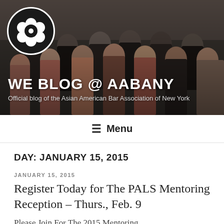[Figure (photo): Group photo of Asian American Bar Association of New York members in formal attire at an event, with AABANY flower logo overlaid in top left corner. Blog header image.]
WE BLOG @ AABANY
Official blog of the Asian American Bar Association of New York
☰ Menu
DAY: JANUARY 15, 2015
JANUARY 15, 2015
Register Today for The PALS Mentoring Reception – Thurs., Feb. 9
Please Join For The 2015 Mentoring...